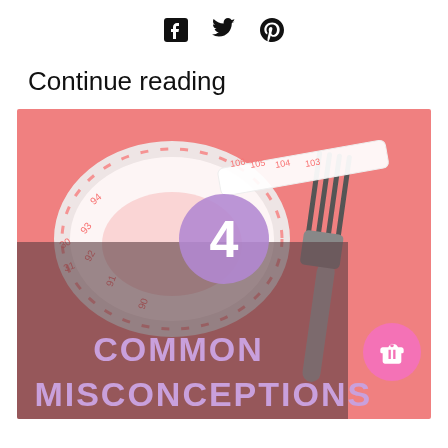Facebook Twitter Pinterest (social share icons)
Continue reading
[Figure (photo): Photo of a pink measuring tape coiled on a pink background beside a fork, with a dark semi-transparent overlay box, a purple circle with the number 4, and bold purple text reading COMMON MISCONCEPTIONS overlaid on the image. A pink gift badge icon is in the lower right.]